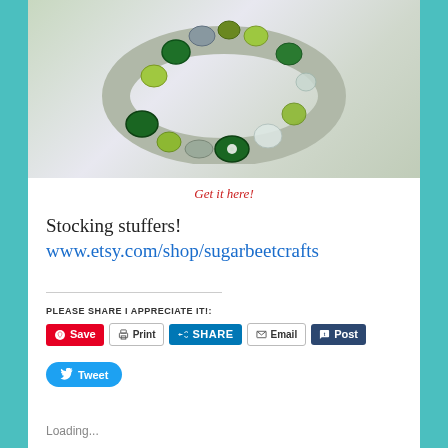[Figure (photo): Photo of a beaded bracelet with green, yellow-green, gray, and clear glass beads on a light background]
Get it here!
Stocking stuffers! www.etsy.com/shop/sugarbeetcrafts
PLEASE SHARE I APPRECIATE IT!:
Save  Print  SHARE  Email  Post  Tweet
Loading...